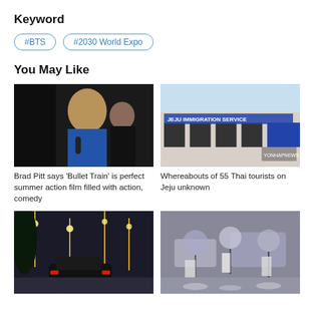Keyword
#BTS
#2030 World Expo
You May Like
[Figure (photo): Brad Pitt holding microphone at press event with female co-star]
Brad Pitt says 'Bullet Train' is perfect summer action film filled with action, comedy
[Figure (photo): Jeju Immigration Service building exterior]
Whereabouts of 55 Thai tourists on Jeju unknown
[Figure (photo): Rainy night street scene with cars and lights]
[Figure (photo): People walking with umbrellas in rain on wet street]